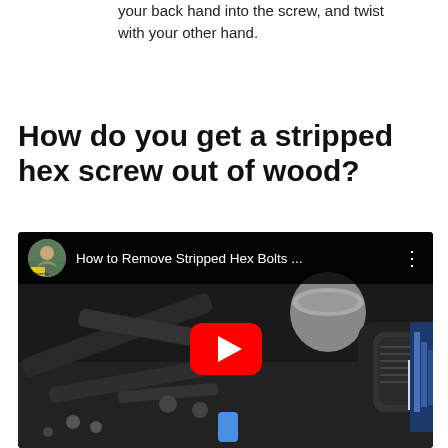your back hand into the screw, and twist with your other hand.
How do you get a stripped hex screw out of wood?
[Figure (screenshot): YouTube video thumbnail showing 'How to Remove Stripped Hex Bolts ...' with a channel avatar, video title bar, and a large red play button over an image of mechanical tools and a power drill.]